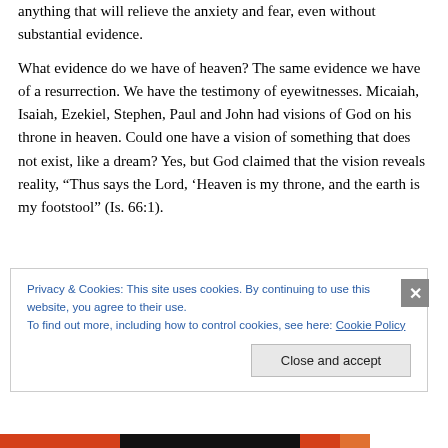anything that will relieve the anxiety and fear, even without substantial evidence.
What evidence do we have of heaven? The same evidence we have of a resurrection. We have the testimony of eyewitnesses. Micaiah, Isaiah, Ezekiel, Stephen, Paul and John had visions of God on his throne in heaven. Could one have a vision of something that does not exist, like a dream? Yes, but God claimed that the vision reveals reality, “Thus says the Lord, ‘Heaven is my throne, and the earth is my footstool” (Is. 66:1).
Privacy & Cookies: This site uses cookies. By continuing to use this website, you agree to their use.
To find out more, including how to control cookies, see here: Cookie Policy